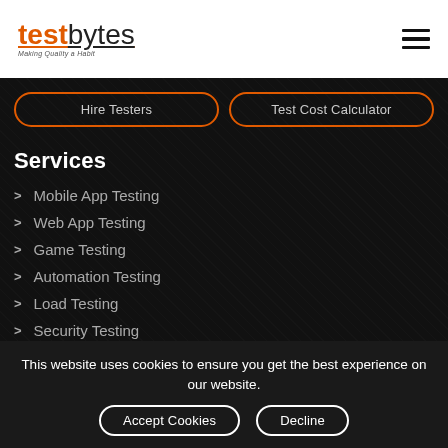[Figure (logo): testbytes logo with tagline 'Making Quality a Habit']
Hire Testers
Test Cost Calculator
Services
Mobile App Testing
Web App Testing
Game Testing
Automation Testing
Load Testing
Security Testing
Performance Testing
This website uses cookies to ensure you get the best experience on our website.
Accept Cookies  Decline